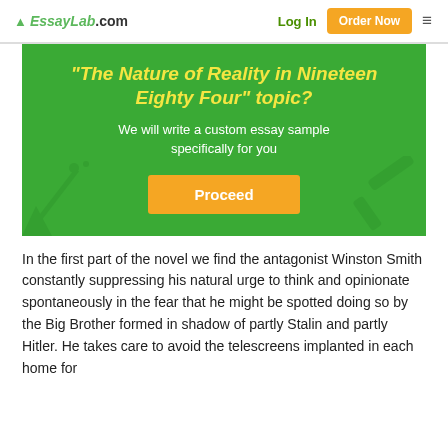EssayLab.com | Log In | Order Now
"The Nature of Reality in Nineteen Eighty Four" topic?
We will write a custom essay sample specifically for you
Proceed
In the first part of the novel we find the antagonist Winston Smith constantly suppressing his natural urge to think and opinionate spontaneously in the fear that he might be spotted doing so by the Big Brother formed in shadow of partly Stalin and partly Hitler. He takes care to avoid the telescreens implanted in each home for